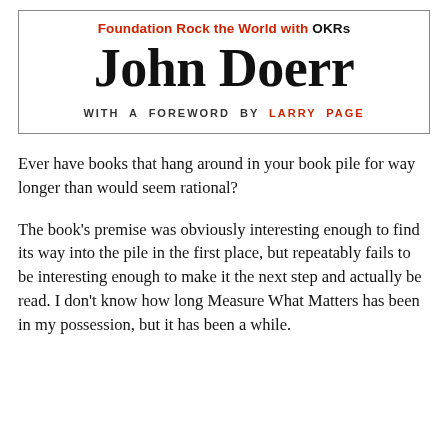[Figure (other): Book cover excerpt for 'Measure What Matters: How Google, Bono, and the Gates Foundation Rock the World with OKRs' by John Doerr, with a foreword by Larry Page. Shows author name in large serif font, subtitle text in red, and foreword credit in spaced caps.]
Ever have books that hang around in your book pile for way longer than would seem rational?
The book's premise was obviously interesting enough to find its way into the pile in the first place, but repeatably fails to be interesting enough to make it the next step and actually be read. I don't know how long Measure What Matters has been in my possession, but it has been a while.